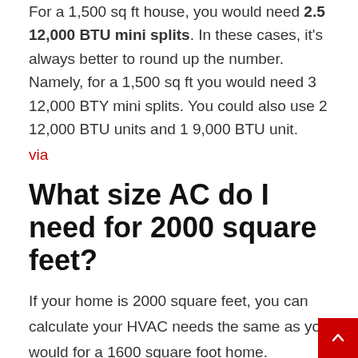For a 1,500 sq ft house, you would need 2.5 12,000 BTU mini splits. In these cases, it's always better to round up the number. Namely, for a 1,500 sq ft you would need 3 12,000 BTY mini splits. You could also use 2 12,000 BTU units and 1 9,000 BTU unit. via
What size AC do I need for 2000 square feet?
If your home is 2000 square feet, you can calculate your HVAC needs the same as you would for a 1600 square foot home. Assuming one ton of cooling capacity can cool 400 square feet of your home, you'll need about 5.0 tons of air conditioning capacity. Multiply this by 12,000